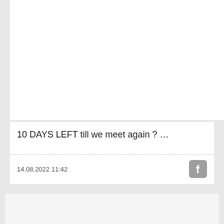[Figure (photo): White/blank card area at top]
10 DAYS LEFT till we meet again ? …
14.08.2022 11:42
[Figure (photo): Group of 7 people standing in front of a yellow building archway with green CSIT World Sports Games banners on both sides]